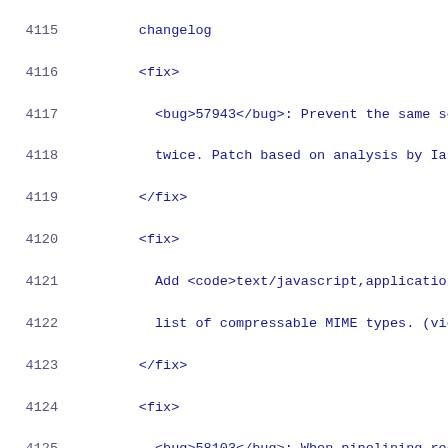4115 changelog
4116   <fix>
4117     <bug>57943</bug>: Prevent the same sock
4118     twice. Patch based on analysis by Ian L
4119   </fix>
4120   <fix>
4121     Add <code>text/javascript,application/j
4122     list of compressable MIME types. (viole
4123   </fix>
4124   <fix>
4125     <bug>58103</bug>: When pipelining reque
4126     an async request, ensure that the socke
4127     requests so that the async timeout thre
4128     next request. (markt)
4129   </fix>
4130   <fix>
4131     <bug>58151</bug>: Correctly handle EOF
4132     to prevent the connector entering a loo
4133     load. (markt)
4134   </fix>
4135   <fix>
4136     In the AJP and HTTP NIO connectors, ens